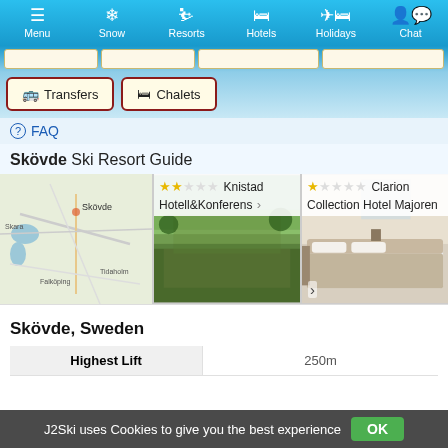Menu | Snow | Resorts | Hotels | Holidays | Chat
[Figure (screenshot): Navigation button row with Transfers and Chalets tab buttons]
⊙ FAQ
Skövde Ski Resort Guide
[Figure (map): Map showing Skövde region in Sweden with surrounding towns Skara, Falköping, Tidaholm]
[Figure (photo): Knistad Hotell&Konferens - 2 star hotel, photo of green lawn and building]
[Figure (photo): Clarion Collection Hotel Majoren - 2 star hotel, photo of hotel room with bed]
| Highest Lift |  |
| --- | --- |
| Highest Lift | 250m |
J2Ski uses Cookies to give you the best experience  OK